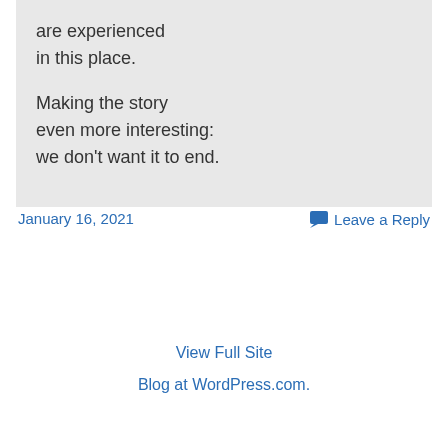are experienced in this place.

Making the story even more interesting: we don't want it to end.
January 16, 2021
Leave a Reply
View Full Site
Blog at WordPress.com.